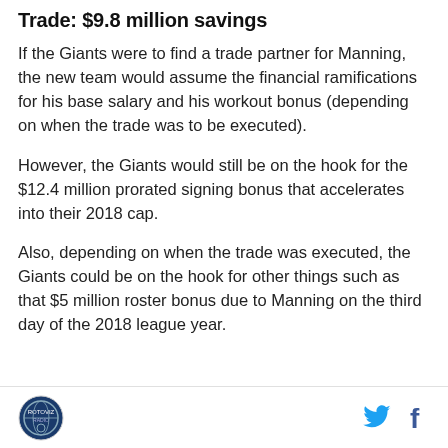Trade: $9.8 million savings
If the Giants were to find a trade partner for Manning, the new team would assume the financial ramifications for his base salary and his workout bonus (depending on when the trade was to be executed).
However, the Giants would still be on the hook for the $12.4 million prorated signing bonus that accelerates into their 2018 cap.
Also, depending on when the trade was executed, the Giants could be on the hook for other things such as that $5 million roster bonus due to Manning on the third day of the 2018 league year.
Logo and social media icons